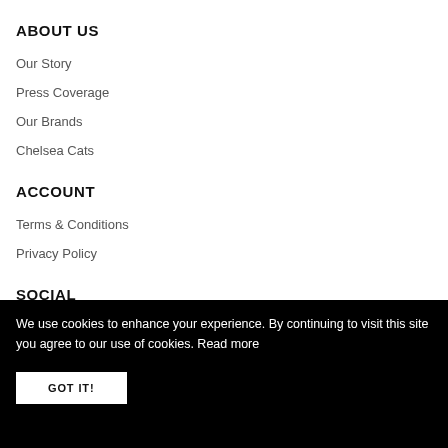ABOUT US
Our Story
Press Coverage
Our Brands
Chelsea Cats
ACCOUNT
Terms & Conditions
Privacy Policy
SOCIAL
We use cookies to enhance your experience. By continuing to visit this site you agree to our use of cookies. Read more
GOT IT!